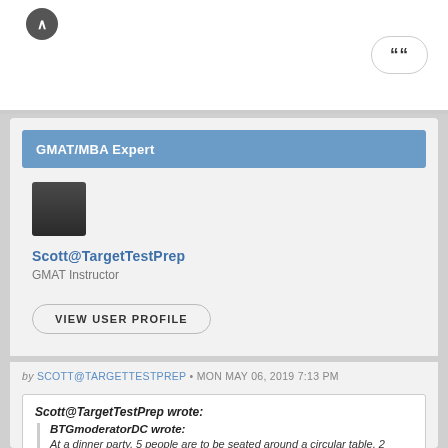[Figure (screenshot): Top bar with chevron up icon and quote button]
GMAT/MBA Expert
[Figure (photo): Profile photo of Scott@TargetTestPrep, a man in a dark shirt]
Scott@TargetTestPrep
GMAT Instructor
VIEW USER PROFILE
by SCOTT@TARGETTESTPREP • MON MAY 06, 2019 7:13 PM
Scott@TargetTestPrep wrote:
BTGmoderatorDC wrote:
At a dinner party, 5 people are to be seated around a circular table. 2 seating arrangements are considered different only